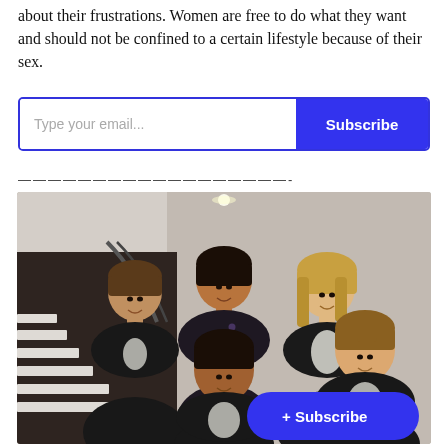about their frustrations. Women are free to do what they want and should not be confined to a certain lifestyle because of their sex.
[Figure (other): Email subscription widget with text field saying 'Type your email...' and a blue 'Subscribe' button]
——————————————————-
[Figure (photo): Group photo of five young women smiling, in a building with a staircase visible on the left and a light gray wall on the right. A blue rounded 'Subscribe' button overlays the bottom right of the image.]